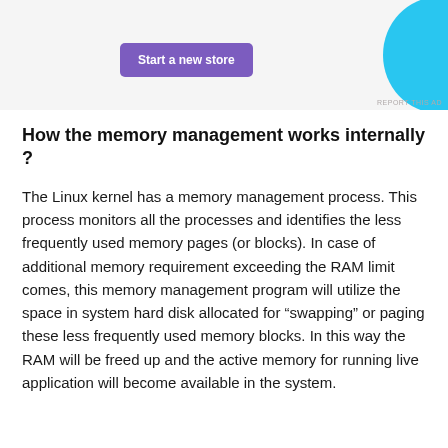[Figure (screenshot): Advertisement banner with a purple 'Start a new store' button on a light grey background, with a cyan decorative shape on the right side and a 'REPORT THIS AD' label at the bottom right.]
How the memory management works internally ?
The Linux kernel has a memory management process. This process monitors all the processes and identifies the less frequently used memory pages (or blocks). In case of additional memory requirement exceeding the RAM limit comes, this memory management program will utilize the space in system hard disk allocated for “swapping” or paging these less frequently used memory blocks. In this way the RAM will be freed up and the active memory for running live application will become available in the system.